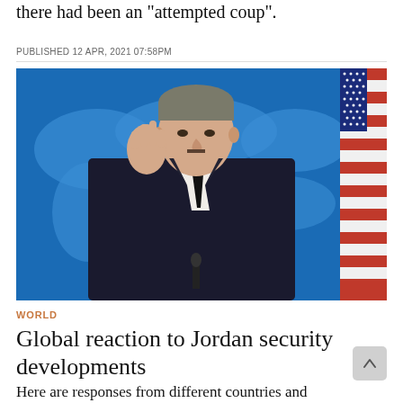there had been an "attempted coup".
PUBLISHED 12 APR, 2021 07:58PM
[Figure (photo): A man in a dark suit and black tie gestures with his right hand raised, standing in front of a blue world map backdrop and a partial view of the American flag. He appears to be speaking at a press briefing.]
WORLD
Global reaction to Jordan security developments
Here are responses from different countries and